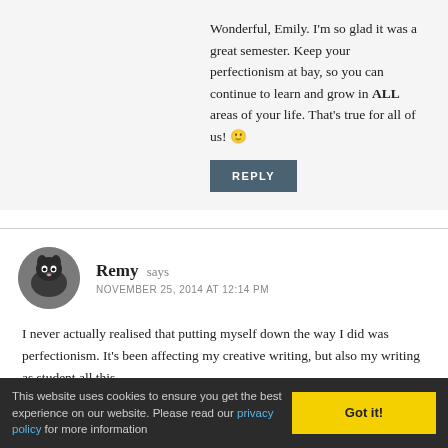Wonderful, Emily. I'm so glad it was a great semester. Keep your perfectionism at bay, so you can continue to learn and grow in ALL areas of your life. That's true for all of us! 🙂
REPLY
[Figure (photo): Circular avatar photo of a black dog (Remy)]
Remy says
NOVEMBER 25, 2014 AT 12:14 PM
I never actually realised that putting myself down the way I did was perfectionism. It's been affecting my creative writing, but also my writing as student all this
This website uses cookies to ensure you get the best experience on our website. Please read our privacy policy for more information